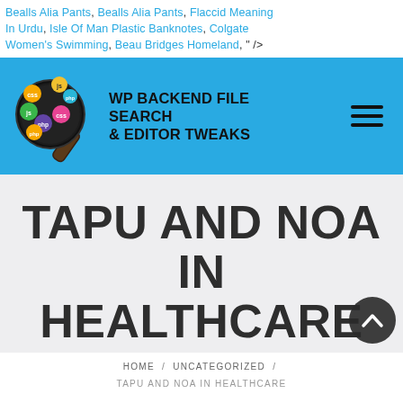Bealls Alia Pants, Bealls Alia Pants, Flaccid Meaning In Urdu, Isle Of Man Plastic Banknotes, Colgate Women's Swimming, Beau Bridges Homeland, " />
[Figure (logo): WP Backend File Search & Editor Tweaks website header with magnifier logo showing CSS, JS, PHP tags]
TAPU AND NOA IN HEALTHCARE
HOME / UNCATEGORIZED / TAPU AND NOA IN HEALTHCARE